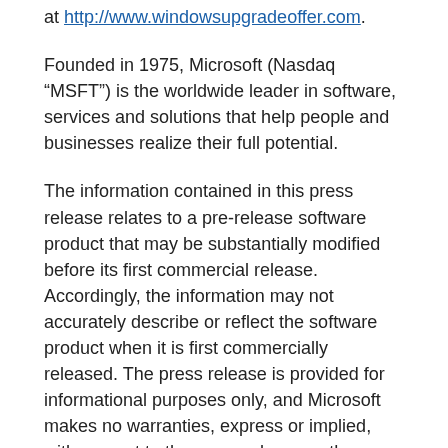at http://www.windowsupgradeoffer.com.
Founded in 1975, Microsoft (Nasdaq “MSFT”) is the worldwide leader in software, services and solutions that help people and businesses realize their full potential.
The information contained in this press release relates to a pre-release software product that may be substantially modified before its first commercial release. Accordingly, the information may not accurately describe or reflect the software product when it is first commercially released. The press release is provided for informational purposes only, and Microsoft makes no warranties, express or implied, with respect to the press release or the information contained in it.
Note to editors: For more information, news and perspectives from Microsoft, please visit the Microsoft News Center at http://www.microsoft.com/news. Web links, telephone numbers and titles were correct at time of publication, but may have changed. For additional assistance, journalists and analysts may contact